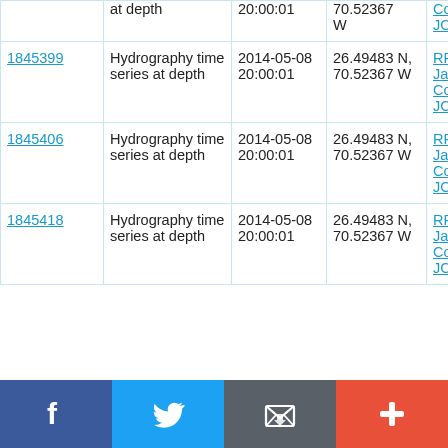| ID | Type | Date | Location | Vessel |
| --- | --- | --- | --- | --- |
| (partial) | at depth | 20:00:01 | 70.52367 W | Cook
JC103 |
| 1845399 | Hydrography time series at depth | 2014-05-08 20:00:01 | 26.49483 N, 70.52367 W | RRS James Cook JC103 |
| 1845406 | Hydrography time series at depth | 2014-05-08 20:00:01 | 26.49483 N, 70.52367 W | RRS James Cook JC103 |
| 1845418 | Hydrography time series at depth | 2014-05-08 20:00:01 | 26.49483 N, 70.52367 W | RRS James Cook JC103 |
[Figure (other): Social sharing bar with Facebook, Twitter, Email/envelope, and plus buttons]